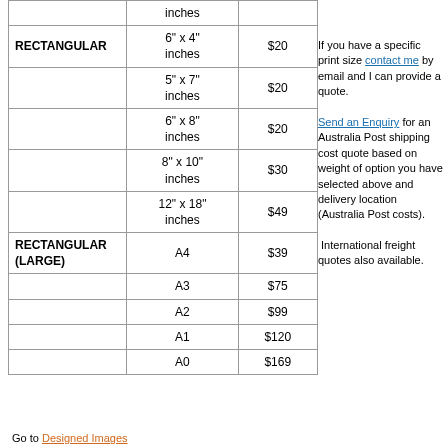|  | inches |  |
| --- | --- | --- |
| RECTANGULAR | 6" x 4" inches | $20 |
|  | 5" x 7" inches | $20 |
|  | 6" x 8" inches | $20 |
|  | 8" x 10" inches | $30 |
|  | 12" x 18" inches | $49 |
| RECTANGULAR (LARGE) | A4 | $39 |
|  | A3 | $75 |
|  | A2 | $99 |
|  | A1 | $120 |
|  | A0 | $169 |
If you have a specific print size contact me by email and I can provide a quote. Send an Enquiry for an Australia Post shipping cost quote based on weight of option you have selected above and delivery location (Australia Post costs). International freight quotes also available.
Go to Designed Images